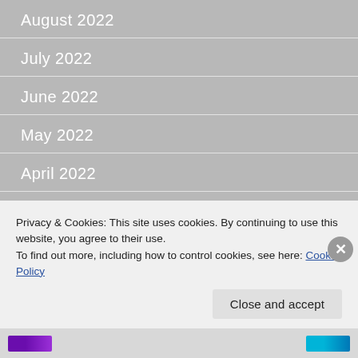August 2022
July 2022
June 2022
May 2022
April 2022
March 2022
February 2022
Privacy & Cookies: This site uses cookies. By continuing to use this website, you agree to their use.
To find out more, including how to control cookies, see here: Cookie Policy
Close and accept